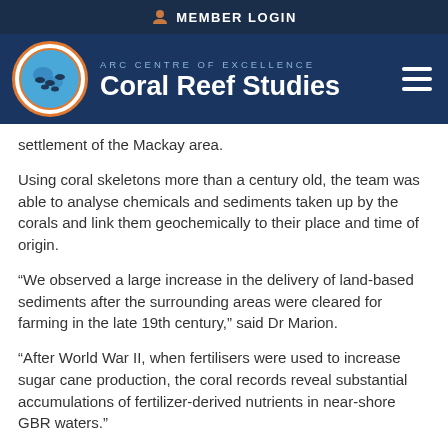MEMBER LOGIN
[Figure (logo): ARC Centre of Excellence Coral Reef Studies logo with globe icon and hamburger menu]
settlement of the Mackay area.
Using coral skeletons more than a century old, the team was able to analyse chemicals and sediments taken up by the corals and link them geochemically to their place and time of origin.
“We observed a large increase in the delivery of land-based sediments after the surrounding areas were cleared for farming in the late 19th century,” said Dr Marion.
“After World War II, when fertilisers were used to increase sugar cane production, the coral records reveal substantial accumulations of fertilizer-derived nutrients in near-shore GBR waters.”
“This is a global issue because development is taking place in coastal areas all over Australia and around the world.